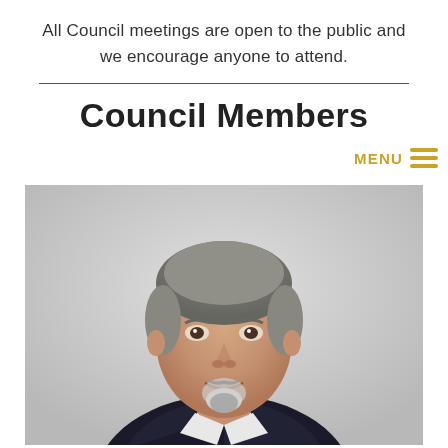All Council meetings are open to the public and we encourage anyone to attend.
Council Members
[Figure (photo): Portrait photo of a middle-aged man with gray-streaked hair and a goatee, wearing a dark suit and tie, against a light gray background. A 'MENU' button with golden hamburger icon appears in the upper right of the image area.]